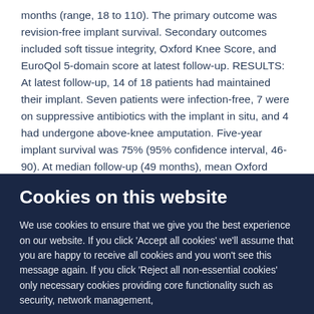months (range, 18 to 110). The primary outcome was revision-free implant survival. Secondary outcomes included soft tissue integrity, Oxford Knee Score, and EuroQol 5-domain score at latest follow-up. RESULTS: At latest follow-up, 14 of 18 patients had maintained their implant. Seven patients were infection-free, 7 were on suppressive antibiotics with the implant in situ, and 4 had undergone above-knee amputation. Five-year implant survival was 75% (95% confidence interval, 46-90). At median follow-up (49 months), mean Oxford Knee Score was 13.4 (range, 2-35) and mean EuroQol 5-domain
Cookies on this website
We use cookies to ensure that we give you the best experience on our website. If you click 'Accept all cookies' we'll assume that you are happy to receive all cookies and you won't see this message again. If you click 'Reject all non-essential cookies' only necessary cookies providing core functionality such as security, network management,